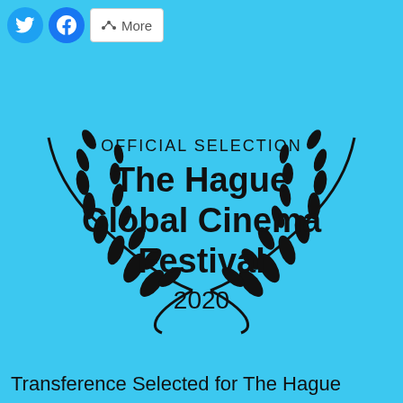[Figure (screenshot): Social media sharing toolbar with Twitter (blue bird), Facebook (blue f), and More share button]
[Figure (illustration): Official Selection laurel wreath badge for The Hague Global Cinema Festival 2020, black laurel branches on cyan background with text: OFFICIAL SELECTION, The Hague Global Cinema Festival, 2020]
Transference Selected for The Hague